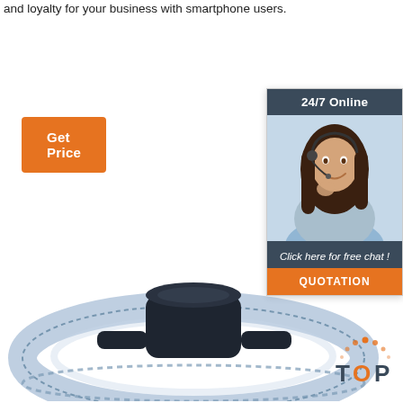and loyalty for your business with smartphone users.
[Figure (other): Orange 'Get Price' button]
[Figure (other): Chat widget with '24/7 Online' header, photo of female customer service agent with headset, 'Click here for free chat!' text and orange QUOTATION button]
[Figure (photo): Side view of a smartwatch/fitness tracker with a blue serrated band forming a circular shape]
[Figure (logo): TOP logo with orange dots above and orange/dark text spelling TOP]